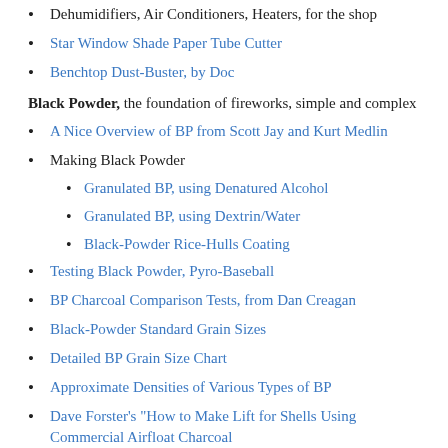Dehumidifiers, Air Conditioners, Heaters, for the shop
Star Window Shade Paper Tube Cutter
Benchtop Dust-Buster, by Doc
Black Powder, the foundation of fireworks, simple and complex
A Nice Overview of BP from Scott Jay and Kurt Medlin
Making Black Powder
Granulated BP, using Denatured Alcohol
Granulated BP, using Dextrin/Water
Black-Powder Rice-Hulls Coating
Testing Black Powder, Pyro-Baseball
BP Charcoal Comparison Tests, from Dan Creagan
Black-Powder Standard Grain Sizes
Detailed BP Grain Size Chart
Approximate Densities of Various Types of BP
Dave Forster's "How to Make Lift for Shells Using Commercial Airfloat Charcoal